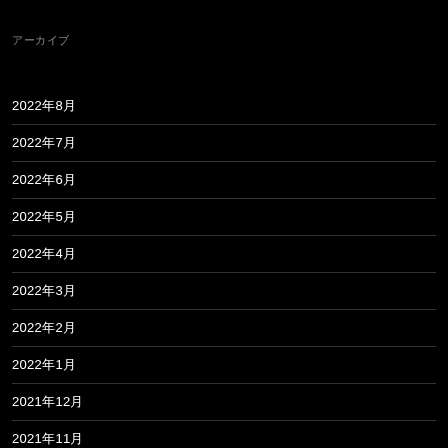アーカイブ
2022年8月
2022年7月
2022年6月
2022年5月
2022年4月
2022年3月
2022年2月
2022年1月
2021年12月
2021年11月